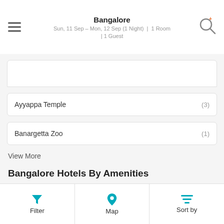Bangalore
Sun, 11 Sep – Mon, 12 Sep (1 Night) | 1 Room | 1 Guest
Ayyappa Temple (3)
Banargetta Zoo (1)
View More
Bangalore Hotels By Amenities
Airport Transportation (2)
Atmbanking (1)
Breakfast Services (3)
Central Air Conditioning
Filter | Map | Sort by